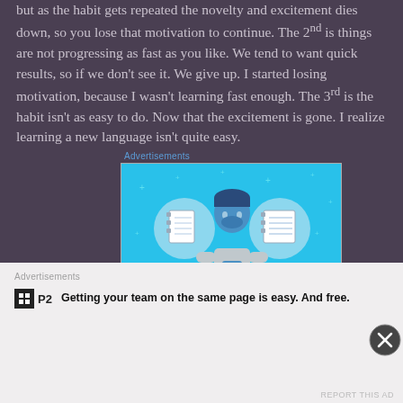but as the habit gets repeated the novelty and excitement dies down, so you lose that motivation to continue. The 2nd is things are not progressing as fast as you like. We tend to want quick results, so if we don't see it. We give up. I started losing motivation, because I wasn't learning fast enough. The 3rd is the habit isn't as easy to do. Now that the excitement is gone. I realize learning a new language isn't quite easy.
Advertisements
[Figure (illustration): Day One app advertisement banner showing a blue background with a cartoon person holding a phone, flanked by two circular icons with notebook images. Text at bottom reads 'DAY ONE' in large spaced letters.]
Advertisements
[Figure (logo): P2 logo: black square icon with a grid symbol followed by bold text 'P2']
Getting your team on the same page is easy. And free.